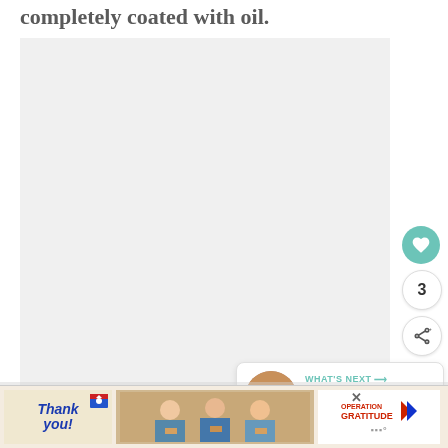completely coated with oil.
[Figure (photo): Large light gray rectangular image placeholder area showing a food photo (partially visible)]
[Figure (infographic): Heart/like button (teal circle with white heart icon), count '3', and share button (white circle with share icon)]
[Figure (infographic): WHAT'S NEXT card showing thumbnail and text 'Roasted Sweet...']
[Figure (infographic): Advertisement banner: 'Thank you!' with Operation Gratitude logo and healthcare workers photo]